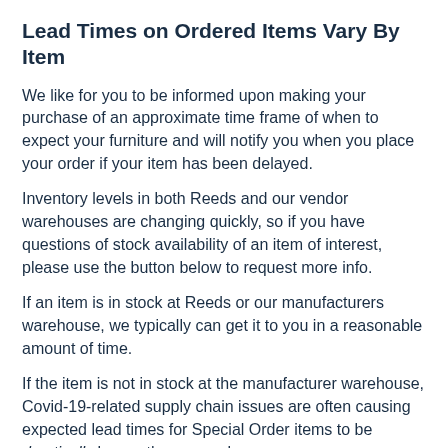Lead Times on Ordered Items Vary By Item
We like for you to be informed upon making your purchase of an approximate time frame of when to expect your furniture and will notify you when you place your order if your item has been delayed.
Inventory levels in both Reeds and our vendor warehouses are changing quickly, so if you have questions of stock availability of an item of interest, please use the button below to request more info.
If an item is in stock at Reeds or our manufacturers warehouse, we typically can get it to you in a reasonable amount of time.
If the item is not in stock at the manufacturer warehouse, Covid-19-related supply chain issues are often causing expected lead times for Special Order items to be drastically longer than normal.
If you have interest in a product, please request